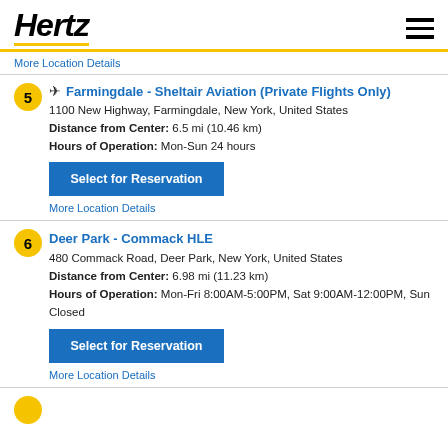Hertz
More Location Details
5 ✈ Farmingdale - Sheltair Aviation (Private Flights Only)
1100 New Highway, Farmingdale, New York, United States
Distance from Center: 6.5 mi (10.46 km)
Hours of Operation: Mon-Sun 24 hours
Select for Reservation
More Location Details
6 Deer Park - Commack HLE
480 Commack Road, Deer Park, New York, United States
Distance from Center: 6.98 mi (11.23 km)
Hours of Operation: Mon-Fri 8:00AM-5:00PM, Sat 9:00AM-12:00PM, Sun Closed
Select for Reservation
More Location Details